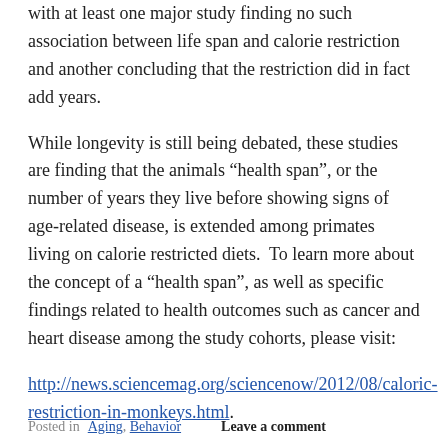with at least one major study finding no such association between life span and calorie restriction and another concluding that the restriction did in fact add years.
While longevity is still being debated, these studies are finding that the animals “health span”, or the number of years they live before showing signs of age-related disease, is extended among primates living on calorie restricted diets.  To learn more about the concept of a “health span”, as well as specific findings related to health outcomes such as cancer and heart disease among the study cohorts, please visit:
http://news.sciencemag.org/sciencenow/2012/08/caloric-restriction-in-monkeys.html.
Posted in Aging, Behavior   Leave a comment